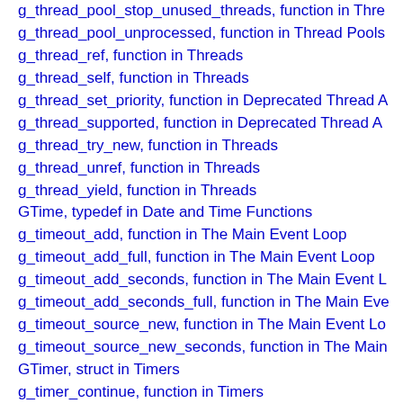g_thread_pool_stop_unused_threads, function in Thre…
g_thread_pool_unprocessed, function in Thread Pools
g_thread_ref, function in Threads
g_thread_self, function in Threads
g_thread_set_priority, function in Deprecated Thread A…
g_thread_supported, function in Deprecated Thread A…
g_thread_try_new, function in Threads
g_thread_unref, function in Threads
g_thread_yield, function in Threads
GTime, typedef in Date and Time Functions
g_timeout_add, function in The Main Event Loop
g_timeout_add_full, function in The Main Event Loop
g_timeout_add_seconds, function in The Main Event L…
g_timeout_add_seconds_full, function in The Main Eve…
g_timeout_source_new, function in The Main Event Lo…
g_timeout_source_new_seconds, function in The Main…
GTimer, struct in Timers
g_timer_continue, function in Timers
g_timer_destroy, function in Timers
g_timer_elapsed, function in Timers
g_timer_new, function in Timers
g_timer_reset, function in Timers